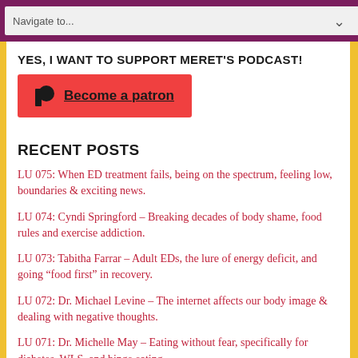Navigate to...
YES, I WANT TO SUPPORT MERET'S PODCAST!
Become a patron
RECENT POSTS
LU 075: When ED treatment fails, being on the spectrum, feeling low, boundaries & exciting news.
LU 074: Cyndi Springford – Breaking decades of body shame, food rules and exercise addiction.
LU 073: Tabitha Farrar – Adult EDs, the lure of energy deficit, and going “food first” in recovery.
LU 072: Dr. Michael Levine – The internet affects our body image & dealing with negative thoughts.
LU 071: Dr. Michelle May – Eating without fear, specifically for diabetes, WLS, and binge eating.